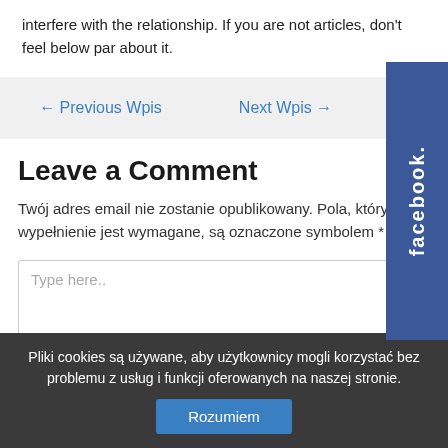interfere with the relationship. If you are not articles, don't feel below par about it.
← Previous Wpis
Next Wpis →
Leave a Comment
Twój adres email nie zostanie opublikowany. Pola, których wypełnienie jest wymagane, są oznaczone symbolem *
Type here..
Pliki cookies są używane, aby użytkownicy mogli korzystać bez problemu z usług i funkcji oferowanych na naszej stronie.
Rozumiem